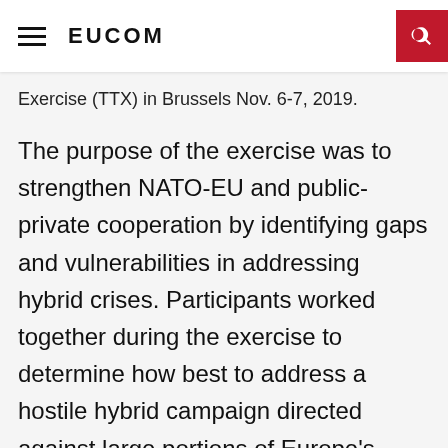EUCOM
Exercise (TTX) in Brussels Nov. 6-7, 2019.
The purpose of the exercise was to strengthen NATO-EU and public-private cooperation by identifying gaps and vulnerabilities in addressing hybrid crises. Participants worked together during the exercise to determine how best to address a hostile hybrid campaign directed against large portions of Europe's economy, internal cohesion, and territorial integrity. Hybrid threats include cyber-attacks, disinformation, election interference, and attacks on the supply chain.